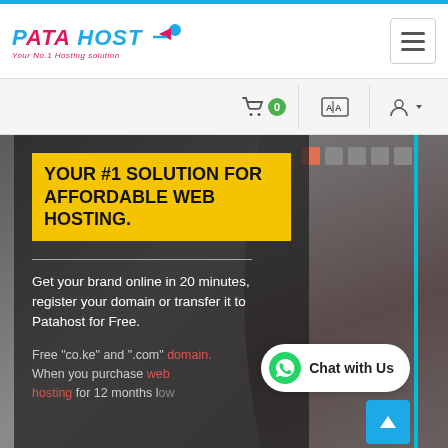[Figure (logo): Patahost logo with blue and red stylized text and tagline 'Your No.1 Hosting solution']
[Figure (screenshot): Website navigation bar with cart icon showing 0, language/translate icon, and user account icon with dropdown arrow]
YOUR #1 SOLUTION FOR AFFORDABLE WEB HOSTING.
Get your brand online in 20 minutes, register your domain or transfer it to Patahost for Free.
Free "co.ke" and ".com" domain. When you purchase web hosting for 12 months low as...
[Figure (photo): Background photo of a woman with curly hair using a laptop in a grey-toned setting]
Chat with Us